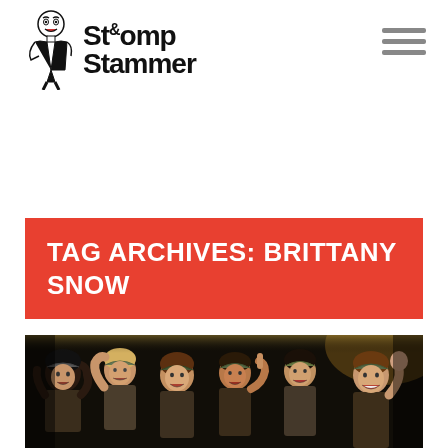Stomp and Stammer
TAG ARCHIVES: BRITTANY SNOW
[Figure (photo): Group of young women in military-style camouflage outfits and caps, performing or celebrating, some raising hands, dark background — scene from Pitch Perfect or similar musical film.]